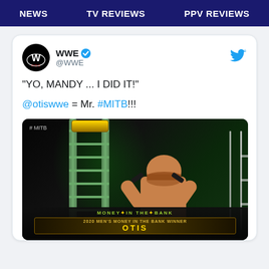NEWS   TV REVIEWS   PPV REVIEWS
[Figure (screenshot): A WWE tweet showing Otis celebrating his 2020 Men's Money in the Bank victory on a ladder, with text quoting 'YO, MANDY ... I DID IT!' and '@otiswwe = Mr. #MITB!!!' The image shows Otis raising his fists next to a green ladder with the MITB briefcase, and a lower banner reading '2020 MEN'S MONEY IN THE BANK WINNER OTIS']